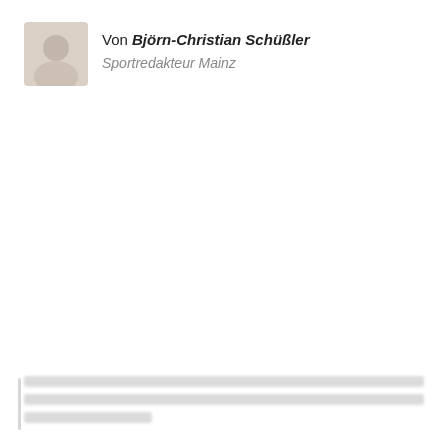Von Björn-Christian Schüßler
Sportredakteur Mainz
[Figure (photo): Blurred author profile photo thumbnail, approximately 64x64px with rounded corners]